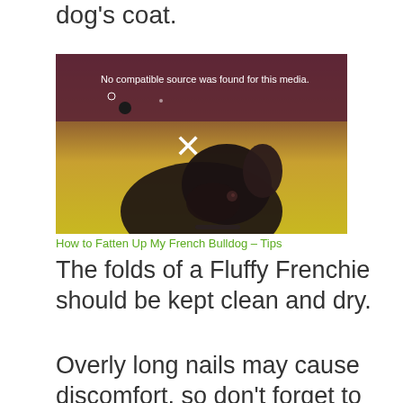dog's coat.
[Figure (photo): Video player showing a French Bulldog looking up against a yellow-to-dark gradient background. An X close button is visible and a message reads 'No compatible source was found for this media.']
How to Fatten Up My French Bulldog – Tips
The folds of a Fluffy Frenchie should be kept clean and dry.
Overly long nails may cause discomfort, so don't forget to clip